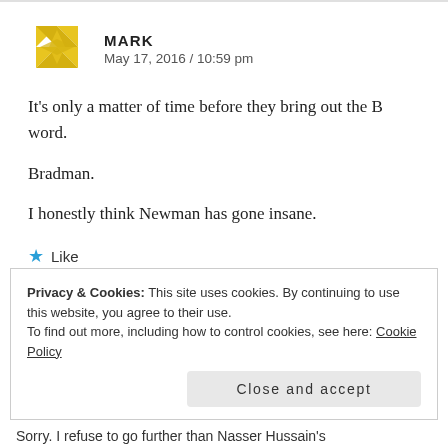[Figure (illustration): Yellow geometric snowflake/star avatar icon for user Mark]
MARK
May 17, 2016 / 10:59 pm
It's only a matter of time before they bring out the B word.
Bradman.
I honestly think Newman has gone insane.
★ Like
Privacy & Cookies: This site uses cookies. By continuing to use this website, you agree to their use.
To find out more, including how to control cookies, see here: Cookie Policy
Close and accept
Sorry. I refuse to go further than Nasser Hussain's